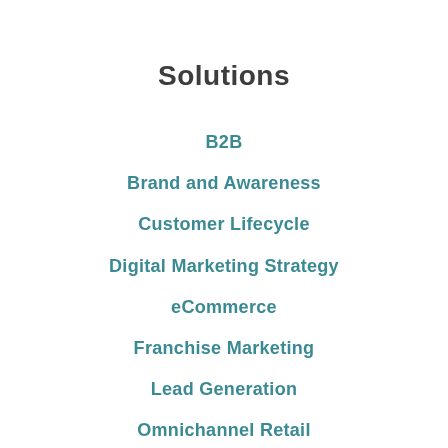Solutions
B2B
Brand and Awareness
Customer Lifecycle
Digital Marketing Strategy
eCommerce
Franchise Marketing
Lead Generation
Omnichannel Retail